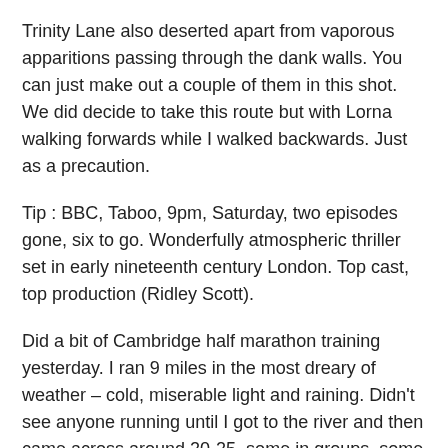Trinity Lane also deserted apart from vaporous apparitions passing through the dank walls. You can just make out a couple of them in this shot. We did decide to take this route but with Lorna walking forwards while I walked backwards. Just as a precaution.
Tip : BBC, Taboo, 9pm, Saturday, two episodes gone, six to go. Wonderfully atmospheric thriller set in early nineteenth century London. Top cast, top production (Ridley Scott).
Did a bit of Cambridge half marathon training yesterday. I ran 9 miles in the most dreary of weather – cold, miserable light and raining. Didn't see anyone running until I got to the river and then came across around 20-25, some in groups, some running alone. Most returned my passing acknowledgement, some got their salutations in before